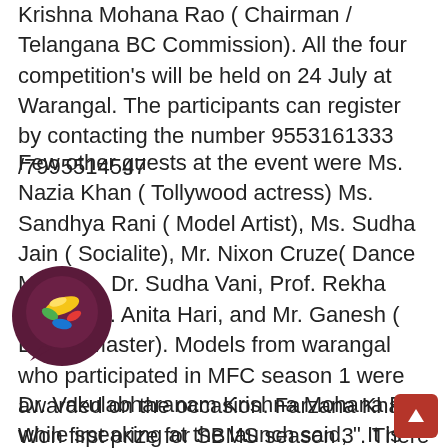Krishna Mohana Rao ( Chairman / Telangana BC Commission). All the four competition's will be held on 24 July at Warangal. The participants can register by contacting the number 9553161333 /7995514547
Few other guests at the event were Ms. Nazia Khan ( Tollywood actress) Ms. Sandhya Rani ( Model Artist), Ms. Sudha Jain ( Socialite), Mr. Nixon Cruze( Dance Master) , Dr. Sudha Vani, Prof. Rekha Rao, Smt. Anita Hari, and Mr. Ganesh ( Dance Master). Models from warangal who participated in MFC season 1 were awarded on the occasion. Farzana Khan Won first prize for SBMS season 3 . There were few cultural programmes that were also conducted at the launch . The audience was enthralled to the great performances.
Dr. Vakulabharanam Krishna Mohana Rao while speaking at the launch said, " It is so good to see these kind of events happening in the state of Telangana.
[Figure (logo): Circular logo with colorful food items (banana, chili, etc.) on dark purple/maroon background, resembling a WhatsApp-style sticker]